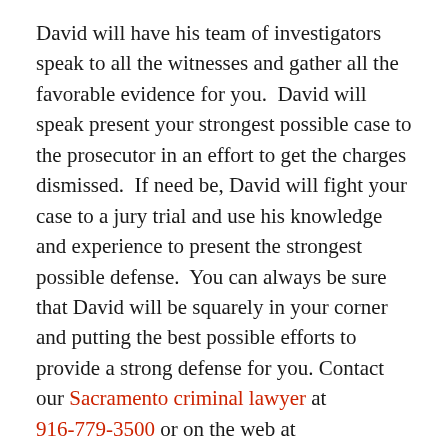David will have his team of investigators speak to all the witnesses and gather all the favorable evidence for you.  David will speak present your strongest possible case to the prosecutor in an effort to get the charges dismissed.  If need be, David will fight your case to a jury trial and use his knowledge and experience to present the strongest possible defense.  You can always be sure that David will be squarely in your corner and putting the best possible efforts to provide a strong defense for you. Contact our Sacramento criminal lawyer at 916-779-3500 or on the web at Contact@foosgavinlaw.com, for a no-cost consultation.